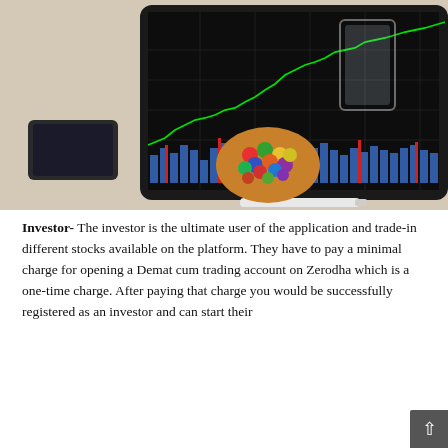[Figure (photo): A tablet on a desk showing a financial stock trading chart with green line chart and blue/red volume bars at the bottom. Beside the tablet is a smartphone, a glass jar of colorful candies, and a stylus pen on a white surface.]
Investor- The investor is the ultimate user of the application and trade-in different stocks available on the platform. They have to pay a minimal charge for opening a Demat cum trading account on Zerodha which is a one-time charge. After paying that charge you would be successfully registered as an investor and can start their